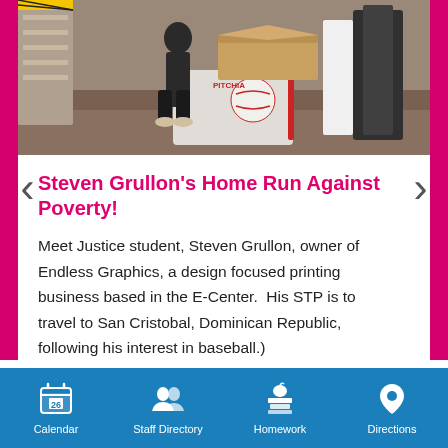[Figure (photo): Person standing in a warehouse/print shop next to a cart loaded with large boxes and printed materials including items with a baseball design]
Steven Grullon's Home Run Against Poverty!
Meet Justice student, Steven Grullon, owner of Endless Graphics, a design focused printing business based in the E-Center. His STP is to travel to San Cristobal, Dominican Republic, following his interest in baseball.)
Calendar  Staff Directory  Homework  Directions